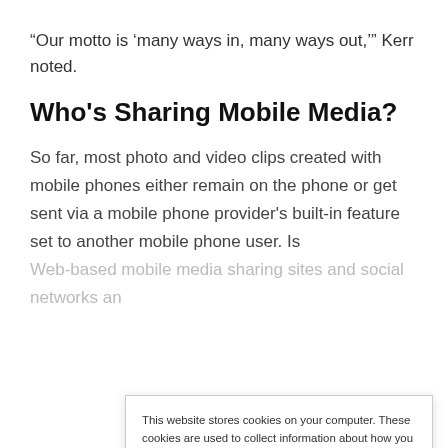“Our motto is ‘many ways in, many ways out,’” Kerr noted.
Who’s Sharing Mobile Media?
So far, most photo and video clips created with mobile phones either remain on the phone or get sent via a mobile phone provider’s built-in feature set to another mobile phone user. Is Web-based mobile media sharing sites and social networks an…
This website stores cookies on your computer. These cookies are used to collect information about how you interact with our website and allow us to remember you. We use this information in order to improve and customize your browsing experience and for analytics and metrics about our visitors both on this website and other media. To find out more about the cookies we use, see our Privacy Policy. California residents have the right to direct us not to sell their personal information to third parties by filing an Opt-Out Request: Do Not Sell My Personal Info.
Accept